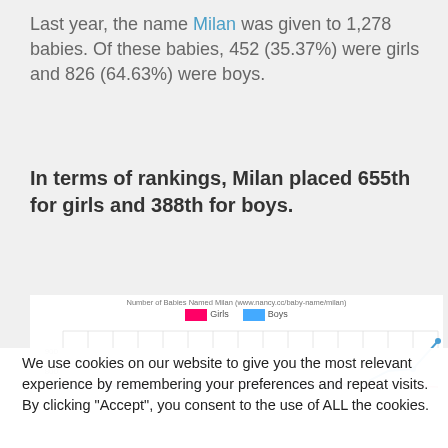Last year, the name Milan was given to 1,278 babies. Of these babies, 452 (35.37%) were girls and 826 (64.63%) were boys.
In terms of rankings, Milan placed 655th for girls and 388th for boys.
[Figure (line-chart): Line chart showing number of babies named Milan over years, with Girls (pink) and Boys (blue) lines. Y-axis shows 800 and 900 visible. Boys line rises at the right end.]
We use cookies on our website to give you the most relevant experience by remembering your preferences and repeat visits. By clicking “Accept”, you consent to the use of ALL the cookies.
Do not sell my personal information.
CLOSE